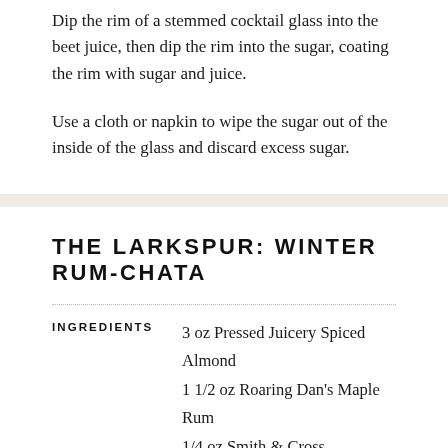Dip the rim of a stemmed cocktail glass into the beet juice, then dip the rim into the sugar, coating the rim with sugar and juice.
Use a cloth or napkin to wipe the sugar out of the inside of the glass and discard excess sugar.
THE LARKSPUR: WINTER RUM-CHATA
3 oz Pressed Juicery Spiced Almond
1 1/2 oz Roaring Dan's Maple Rum
1/4 oz Smith & Cross
dash cinnamon, grated
1/4 oz maple syrup
dash of Angostura bitters